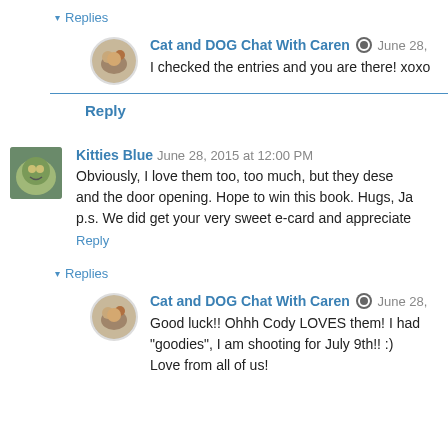▾ Replies
Cat and DOG Chat With Caren  June 28,
I checked the entries and you are there! xoxo
Reply
Kitties Blue  June 28, 2015 at 12:00 PM
Obviously, I love them too, too much, but they dese and the door opening. Hope to win this book. Hugs, Ja p.s. We did get your very sweet e-card and appreciate
Reply
▾ Replies
Cat and DOG Chat With Caren  June 28,
Good luck!! Ohhh Cody LOVES them! I had "goodies", I am shooting for July 9th!! :) Love from all of us!